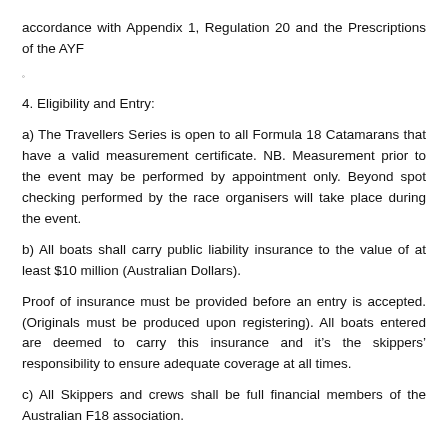accordance with Appendix 1, Regulation 20 and the Prescriptions of the AYF
°
4. Eligibility and Entry:
a) The Travellers Series is open to all Formula 18 Catamarans that have a valid measurement certificate. NB. Measurement prior to the event may be performed by appointment only. Beyond spot checking performed by the race organisers will take place during the event.
b) All boats shall carry public liability insurance to the value of at least $10 million (Australian Dollars).
Proof of insurance must be provided before an entry is accepted. (Originals must be produced upon registering). All boats entered are deemed to carry this insurance and it's the skippers' responsibility to ensure adequate coverage at all times.
c) All Skippers and crews shall be full financial members of the Australian F18 association.